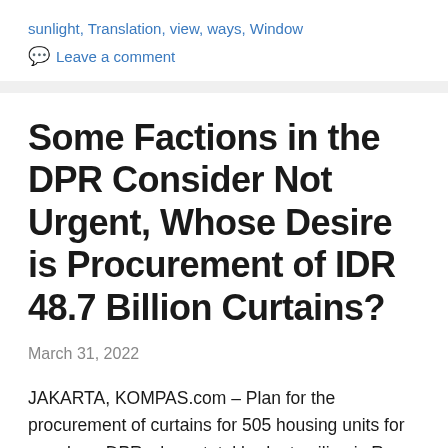sunlight, Translation, view, ways, Window
Leave a comment
Some Factions in the DPR Consider Not Urgent, Whose Desire is Procurement of IDR 48.7 Billion Curtains?
March 31, 2022
JAKARTA, KOMPAS.com – Plan for the procurement of curtains for 505 housing units for members DPR whose total budget ceiling is Rp 48.7 billion, apparently not fully